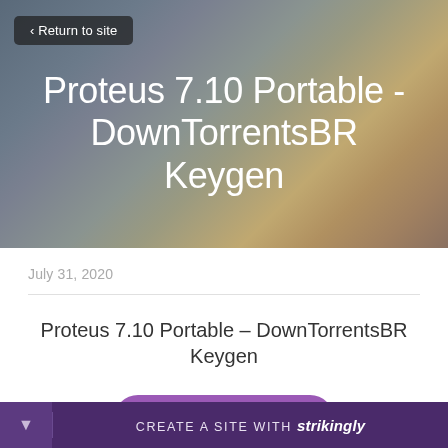[Figure (screenshot): Hero banner with blurred gradient background (grey-blue to warm amber/brown tones)]
< Return to site
Proteus 7.10 Portable - DownTorrentsBR Keygen
July 31, 2020
Proteus 7.10 Portable - DownTorrentsBR Keygen
DOWNLOAD
CREATE A SITE WITH strikingly